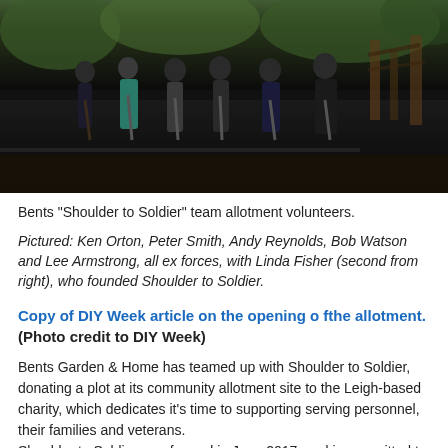[Figure (photo): Group of six people standing outdoors holding shovels and garden tools, likely at an allotment site. Dark background with soil and wooden structures visible.]
Bents "Shoulder to Soldier" team allotment volunteers.
Pictured: Ken Orton, Peter Smith, Andy Reynolds, Bob Watson and Lee Armstrong, all ex forces, with Linda Fisher (second from right), who founded Shoulder to Soldier.
Copy of DIY Week article on the opening o fthe allotment. (Photo credit to DIY Week)
Bents Garden & Home has teamed up with Shoulder to Soldier, donating a plot at its community allotment site to the Leigh-based charity, which dedicates it's time to supporting serving personnel, their families and veterans.
Shoulder to Soldier was formed in June 2017, and is committed to providing support, practical advice, financial relief and social welfare for those who are serving or who have served in our armed forces. It